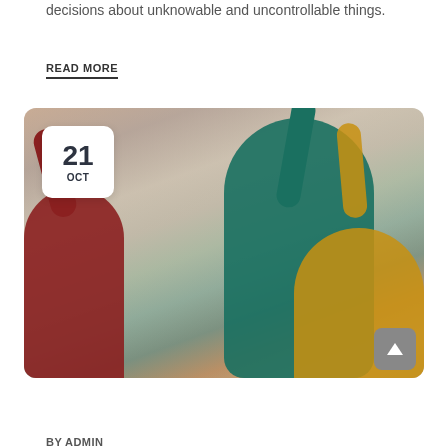decisions about unknowable and uncontrollable things.
READ MORE
[Figure (photo): Students in a classroom raising their hands enthusiastically, with a teacher in a teal shirt celebrating. Date badge shows 21 OCT.]
BY ADMIN